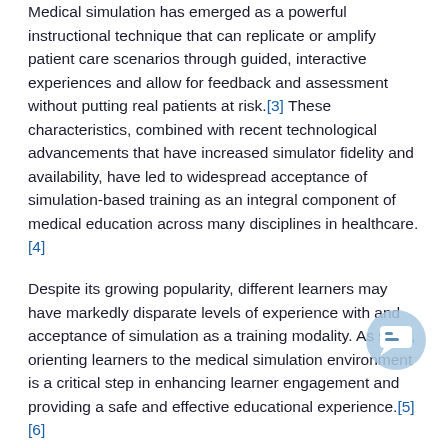Medical simulation has emerged as a powerful instructional technique that can replicate or amplify patient care scenarios through guided, interactive experiences and allow for feedback and assessment without putting real patients at risk.[3] These characteristics, combined with recent technological advancements that have increased simulator fidelity and availability, have led to widespread acceptance of simulation-based training as an integral component of medical education across many disciplines in healthcare.[4]
Despite its growing popularity, different learners may have markedly disparate levels of experience with and acceptance of simulation as a training modality. As such, orienting learners to the medical simulation environment is a critical step in enhancing learner engagement and providing a safe and effective educational experience.[5][6][7]
Function
There are a number of potential barriers to providing